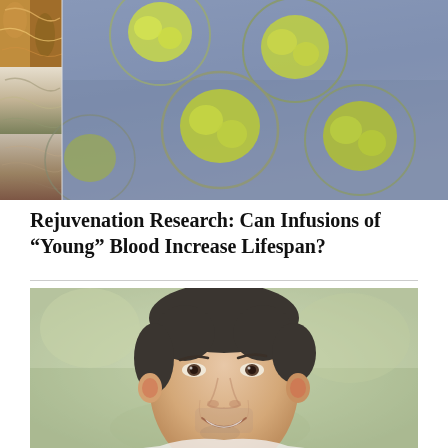[Figure (photo): Top composite image: small thumbnail strip on the left showing microscopic/biological images in brown and golden tones, and a large main image on the right showing circular cell embryos with yellow-green coloring against a blue-gray background]
Rejuvenation Research: Can Infusions of “Young” Blood Increase Lifespan?
[Figure (photo): Portrait photo of a smiling man with short dark hair and slight stubble, wearing a white shirt, photographed against a blurred outdoor background]